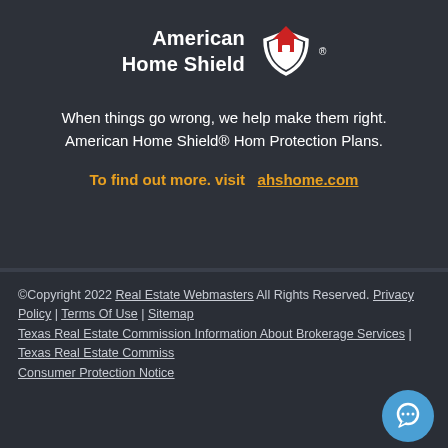[Figure (logo): American Home Shield logo with house/shield icon in red and white, text reads 'American Home Shield']
When things go wrong, we help make them right. American Home Shield® Hom Protection Plans.
To find out more. visit   ahshome.com
©Copyright 2022 Real Estate Webmasters All Rights Reserved. Privacy Policy | Terms Of Use | Sitemap Texas Real Estate Commission Information About Brokerage Services | Texas Real Estate Commission Consumer Protection Notice
© 2024 | Contact us: 555 75555 | 555 website...